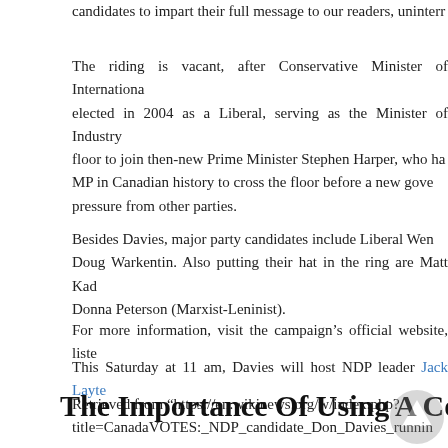candidates to impart their full message to our readers, uninterr
The riding is vacant, after Conservative Minister of Internationa... elected in 2004 as a Liberal, serving as the Minister of Industry... floor to join then-new Prime Minister Stephen Harper, who ha... MP in Canadian history to cross the floor before a new gove... pressure from other parties.
Besides Davies, major party candidates include Liberal Wen... Doug Warkentin. Also putting their hat in the ring are Matt Kad... Donna Peterson (Marxist-Leninist).
For more information, visit the campaign’s official website, liste
This Saturday at 11 am, Davies will host NDP leader Jack Layte
Retrieved from “https://en.wikinews.org/w/index.php?title=CanadaVOTES:_NDP_candidate_Don_Davies_runnin
The Importance Of Using A Co